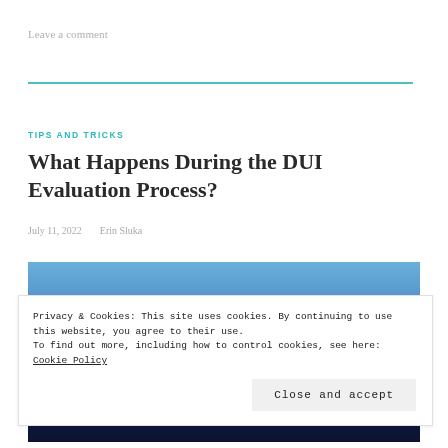Leave a comment
TIPS AND TRICKS
What Happens During the DUI Evaluation Process?
July 11, 2022    Erin Sluka
[Figure (photo): Blue-toned image related to DUI evaluation, dark abstract background with lights]
Privacy & Cookies: This site uses cookies. By continuing to use this website, you agree to their use.
To find out more, including how to control cookies, see here: Cookie Policy
Close and accept